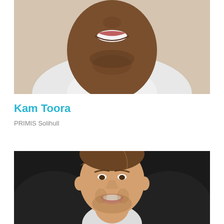[Figure (photo): Close-up headshot of a smiling man with dark skin, wearing a white dress shirt and tie, photographed from chin/mouth area up]
Kam Toora
PRIMIS Solihull
[Figure (photo): Headshot of a smiling young man with brown hair and beard, wearing a dark suit jacket, looking slightly to the side]